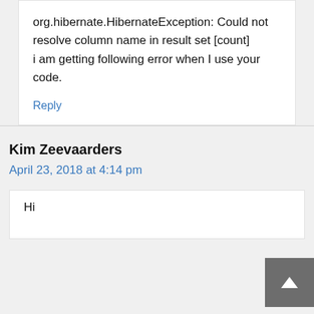org.hibernate.HibernateException: Could not resolve column name in result set [count]
i am getting following error when I use your code.
Reply
Kim Zeevaarders
April 23, 2018 at 4:14 pm
Hi